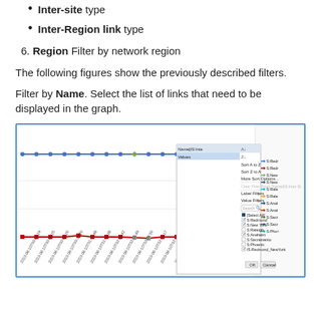Inter-site type
Inter-Region link type
6. Region Filter by network region
The following figures show the previously described filters.
Filter by Name. Select the list of links that need to be displayed in the graph.
[Figure (screenshot): Screenshot of a network graph tool showing two horizontal data lines (blue and dark red) over time, with a dropdown filter panel open on the right showing Name filter options including checkboxes for S:Redmond, S:New York, S:Raleigh, S:Anaheim, S:Sacramento, S:Phoenix, IS:Redmond_NewYork, with Sort A to Z, Sort Z to A, More Sort Options, Label Filters, Value Filters, Search box, and OK/Cancel buttons.]